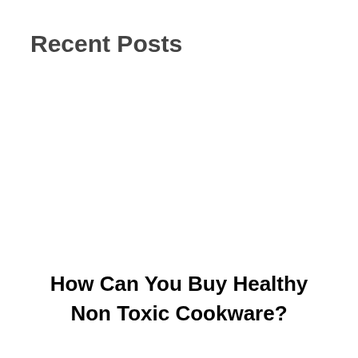Recent Posts
How Can You Buy Healthy Non Toxic Cookware?